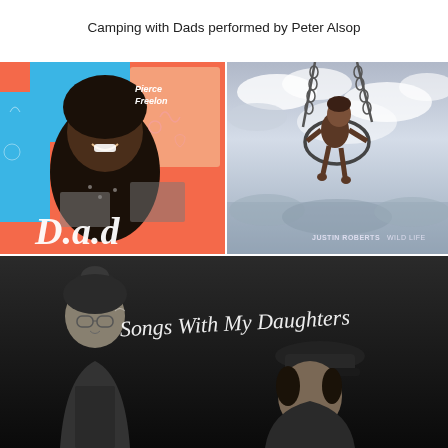Camping with Dads performed by Peter Alsop
[Figure (photo): Album cover for 'D.A.D' by Pierce Freelon — colorful orange and blue background with illustrated doodles, featuring a smiling Black man with an afro and a collage of Black and white family photos, white handwritten text 'D.a.d' at the bottom.]
[Figure (photo): Album cover for 'Wild Life' by Justin Roberts — black and white photograph of a child swinging on a trapeze ring against a cloudy sky, with text 'JUSTIN ROBERTS WILD LIFE' in small caps at the lower right.]
[Figure (photo): Album cover 'Songs With My Daughters' — black and white photograph of two people (a father and daughter) looking down, with handwritten-style white cursive text 'Songs With My Daughters' overlaid.]